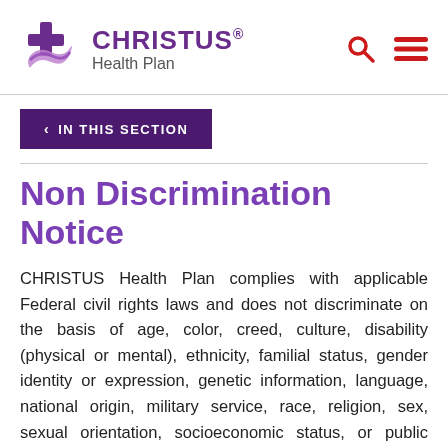CHRISTUS Health Plan
IN THIS SECTION
Non Discrimination Notice
CHRISTUS Health Plan complies with applicable Federal civil rights laws and does not discriminate on the basis of age, color, creed, culture, disability (physical or mental), ethnicity, familial status, gender identity or expression, genetic information, language, national origin, military service, race, religion, sex, sexual orientation, socioeconomic status, or public assistance status.